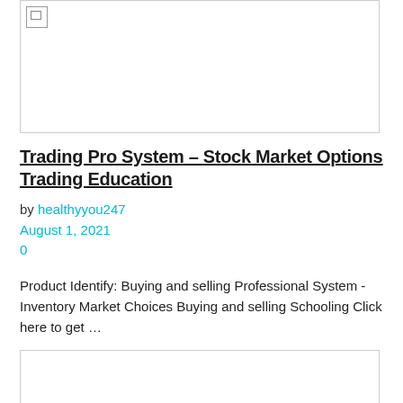[Figure (photo): Image placeholder with broken image icon, bordered rectangle]
Trading Pro System – Stock Market Options Trading Education
by healthyyou247
August 1, 2021
0
Product Identify: Buying and selling Professional System - Inventory Market Choices Buying and selling Schooling Click here to get …
[Figure (photo): Second image placeholder with broken image icon, bordered rectangle]